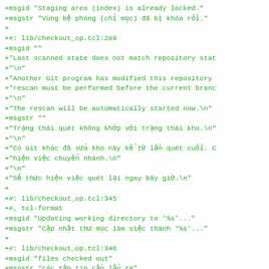+msgid "Staging area (index) is already locked."
+msgstr "Vùng bệ phóng (chỉ mục) đã bị khóa rồi."
+
+#: lib/checkout_op.tcl:289
+msgid ""
+"Last scanned state does not match repository stat
+"\n"
+"Another Git program has modified this repository
+"rescan must be performed before the current branc
+"\n"
+"The rescan will be automatically started now.\n"
+msgstr ""
+"Trạng thái quét không khớp với trạng thái kho.\n"
+"\n"
+"Có Git khác đã sửa kho này kể từ lần quét cuối. C
+"hiện việc chuyển nhánh.\n"
+"\n"
+"Sẽ thực hiện việc quét lại ngay bây giờ.\n"
+
+#: lib/checkout_op.tcl:345
+#, tcl-format
+msgid "Updating working directory to '%s'..."
+msgstr "Cập nhật thư mục làm việc thành '%s'..."
+
+#: lib/checkout_op.tcl:346
+msgid "files checked out"
+msgstr "các tập tin cần lấy ra"
+
+#: lib/checkout_op.tcl:376